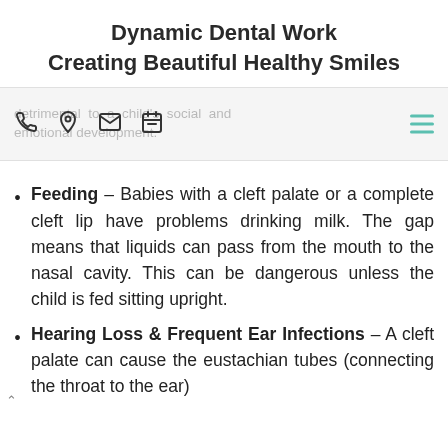Dynamic Dental Work
Creating Beautiful Healthy Smiles
detrimental to a child's social and emotional development.
Feeding – Babies with a cleft palate or a complete cleft lip have problems drinking milk. The gap means that liquids can pass from the mouth to the nasal cavity. This can be dangerous unless the child is fed sitting upright.
Hearing Loss & Frequent Ear Infections – A cleft palate can cause the eustachian tubes (connecting the throat to the ear)